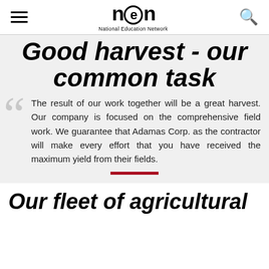National Education Network
Good harvest - our common task
The result of our work together will be a great harvest. Our company is focused on the comprehensive field work. We guarantee that Adamas Corp. as the contractor will make every effort that you have received the maximum yield from their fields.
Our fleet of agricultural